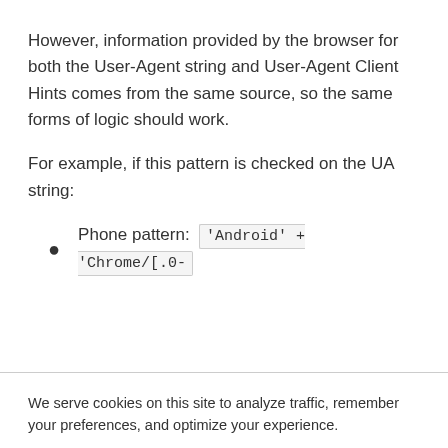However, information provided by the browser for both the User-Agent string and User-Agent Client Hints comes from the same source, so the same forms of logic should work.
For example, if this pattern is checked on the UA string:
Phone pattern: 'Android' + 'Chrome/[.0-
We serve cookies on this site to analyze traffic, remember your preferences, and optimize your experience.
More details   Ok, Got it.